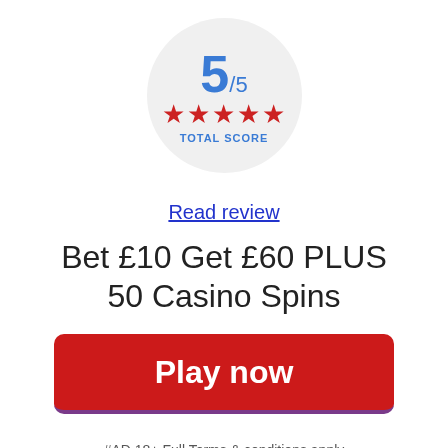[Figure (infographic): A circular score badge showing 5/5 with five red stars and 'TOTAL SCORE' label in blue]
Read review
Bet £10 Get £60 PLUS 50 Casino Spins
[Figure (other): Red rounded rectangle button with white text 'Play now']
#AD 18+ Full Terms & conditions apply